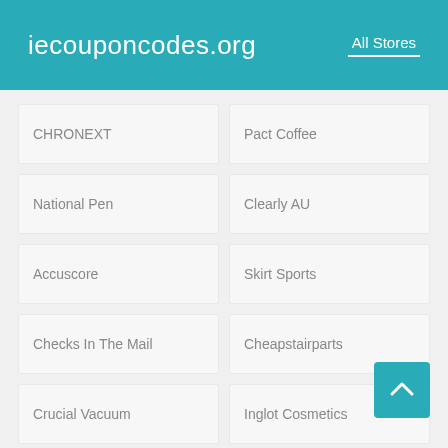iecouponcodes.org
All Stores
CHRONEXT
Pact Coffee
National Pen
Clearly AU
Accuscore
Skirt Sports
Checks In The Mail
Cheapstairparts
Crucial Vacuum
Inglot Cosmetics
Trade Discount
Supermen
Kohl's
Emirates
Boux Avenue
Figleaves